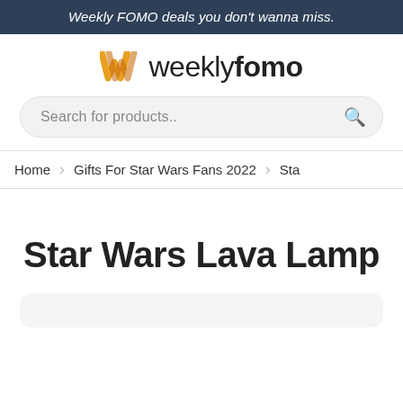Weekly FOMO deals you don't wanna miss.
[Figure (logo): Weekly FOMO logo with orange W chevron icon and 'weeklyfomo' wordmark]
Search for products..
Home  >  Gifts For Star Wars Fans 2022  >  Sta
Star Wars Lava Lamp